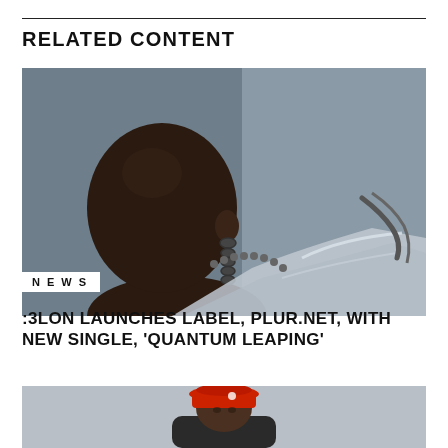RELATED CONTENT
[Figure (photo): Side profile of a person with chain earrings and metallic accessories against a grey background]
NEWS
:3LON LAUNCHES LABEL, PLUR.NET, WITH NEW SINGLE, 'QUANTUM LEAPING'
[Figure (photo): Person wearing a red bucket hat, partially visible at bottom of page]